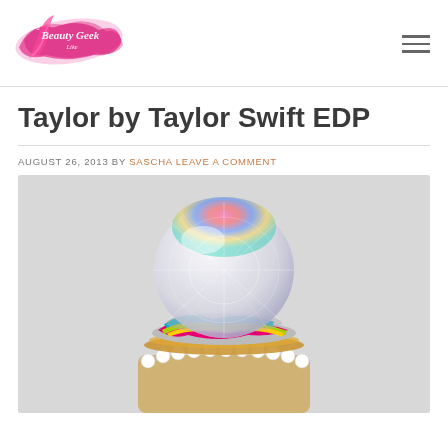a Beauty Geek Like Me [logo]
Taylor by Taylor Swift EDP
AUGUST 26, 2013 BY SASCHA LEAVE A COMMENT
[Figure (photo): Close-up photo of Taylor by Taylor Swift EDP perfume bottle, showing a large faceted crystal ball stopper with colorful swirl pattern on the bottle cap and pearl necklace detail around the base, on a white background.]